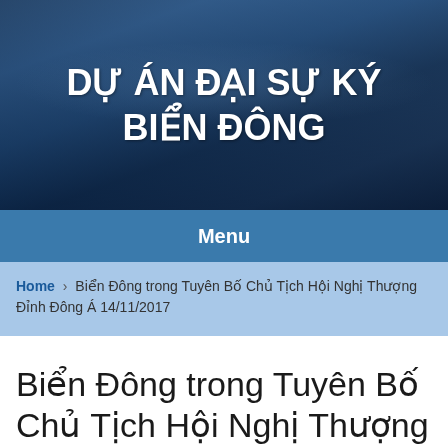DỰ ÁN ĐẠI SỰ KÝ BIỂN ĐÔNG
Menu
Home > Biển Đông trong Tuyên Bố Chủ Tịch Hội Nghị Thượng Đỉnh Đông Á 14/11/2017
Biển Đông trong Tuyên Bố Chủ Tịch Hội Nghị Thượng Đỉnh Đ...